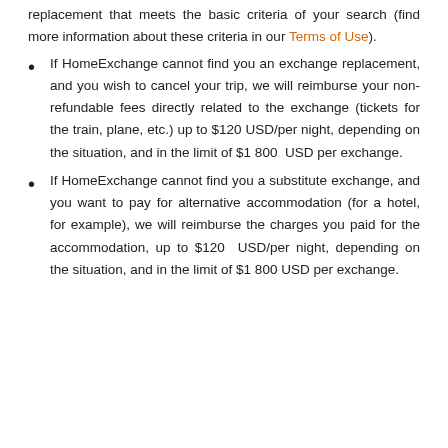replacement that meets the basic criteria of your search (find more information about these criteria in our Terms of Use).
If HomeExchange cannot find you an exchange replacement, and you wish to cancel your trip, we will reimburse your non-refundable fees directly related to the exchange (tickets for the train, plane, etc.) up to $120 USD/per night, depending on the situation, and in the limit of $1 800 USD per exchange.
If HomeExchange cannot find you a substitute exchange, and you want to pay for alternative accommodation (for a hotel, for example), we will reimburse the charges you paid for the accommodation, up to $120 USD/per night, depending on the situation, and in the limit of $1 800 USD per exchange.